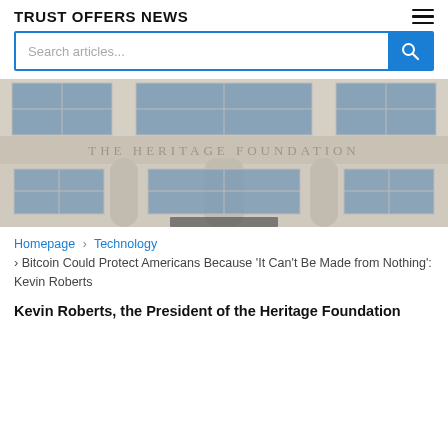TRUST OFFERS NEWS
[Figure (photo): Exterior facade of The Heritage Foundation building showing stone columns, windows, and the organization name engraved in the stone.]
Homepage › Technology › Bitcoin Could Protect Americans Because 'It Can't Be Made from Nothing': Kevin Roberts
Kevin Roberts, the President of the Heritage Foundation